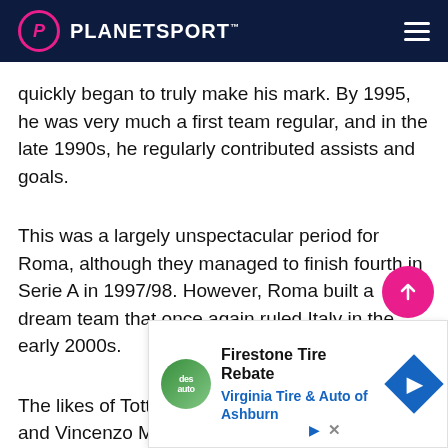PLANETSPORT
quickly began to truly make his mark. By 1995, he was very much a first team regular, and in the late 1990s, he regularly contributed assists and goals.
This was a largely unspectacular period for Roma, although they managed to finish fourth in Serie A in 1997/98. However, Roma built a dream team that once again ruled Italy in the early 2000s.
The likes of Totti, Aldair, Cafu, Gabriel Batistuta and Vincenzo Montella fired Roma to title glory in 2000/01 under the guidance of Fabio Capello.
Ro... ea...
[Figure (other): Advertisement banner for Firestone Tire Rebate at Virginia Tire & Auto of Ashburn]